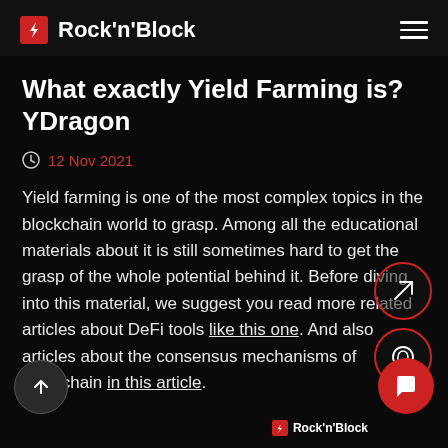Rock'n'Block
What exactly Yield Farming is? YDragon
12 Nov 2021
Yield farming is one of the most complex topics in the blockchain world to grasp. Among all the educational materials about it is still sometimes hard to get the grasp of the whole potential behind it. Before diving into this material, we suggest you read more related articles about DeFi tools like this one. And also articles about the consensus mechanisms of blockchain in this article.